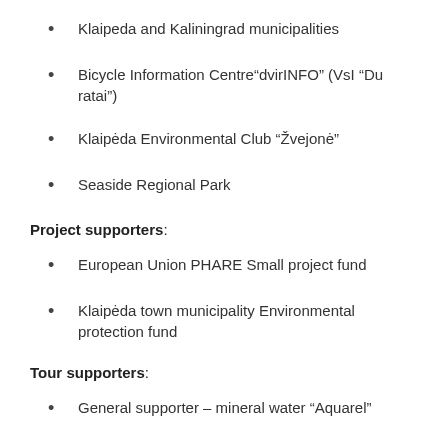Klaipeda and Kaliningrad municipalities
Bicycle Information Centre“dvirINFO” (VsI “Du ratai”)
Klaipėda Environmental Club “Žvejonė”
Seaside Regional Park
Project supporters:
European Union PHARE Small project fund
Klaipėda town municipality Environmental protection fund
Tour supporters:
General supporter – mineral water “Aquarel”
Ma… supporter – “Rentita” bikes and travel